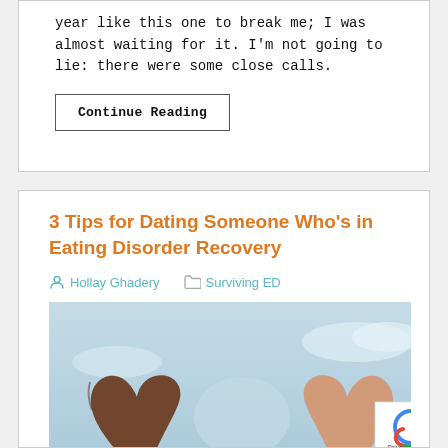year like this one to break me; I was almost waiting for it. I'm not going to lie: there were some close calls.
Continue Reading
3 Tips for Dating Someone Who's in Eating Disorder Recovery
Hollay Ghadery  Surviving ED
[Figure (photo): Two hands of different skin tones forming a heart shape together against a light blue sky background. A reCAPTCHA badge appears in the bottom right corner with 'Privacy - Terms' text.]